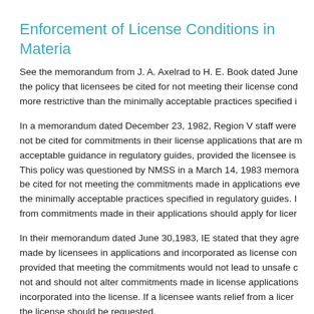Enforcement of License Conditions in Materia
See the memorandum from J. A. Axelrad to H. E. Book dated June the policy that licensees be cited for not meeting their license cond more restrictive than the minimally acceptable practices specified i
In a memorandum dated December 23, 1982, Region V staff were not be cited for commitments in their license applications that are m acceptable guidance in regulatory guides, provided the licensee is This policy was questioned by NMSS in a March 14, 1983 memora be cited for not meeting the commitments made in applications eve the minimally acceptable practices specified in regulatory guides. I from commitments made in their applications should apply for licer
In their memorandum dated June 30,1983, IE stated that they agre made by licensees in applications and incorporated as license con provided that meeting the commitments would not lead to unsafe c not and should not alter commitments made in license applications incorporated into the license. If a licensee wants relief from a licer the license should be requested.